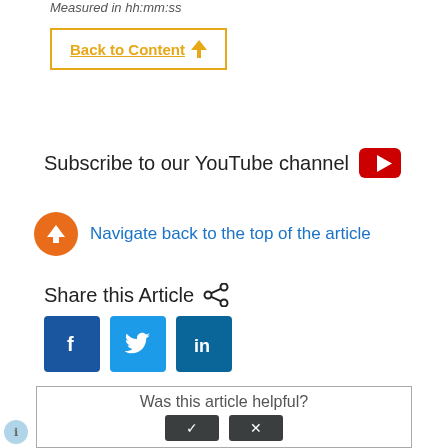Measured in hh:mm:ss
Back to Content ↑
Subscribe to our YouTube channel
Navigate back to the top of the article
Share this Article
[Figure (infographic): Facebook, Twitter, LinkedIn social share buttons]
Was this article helpful?
0 out of 0 found this helpful